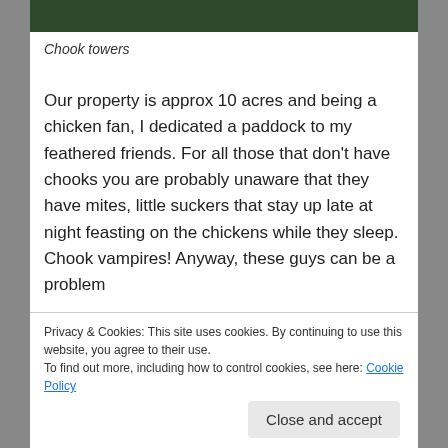[Figure (photo): Partial photo strip showing dark green foliage at the top of the page]
Chook towers
Our property is approx 10 acres and being a chicken fan, I dedicated a paddock to my feathered friends. For all those that don't have chooks you are probably unaware that they have mites, little suckers that stay up late at night feasting on the chickens while they sleep. Chook vampires! Anyway, these guys can be a problem
Privacy & Cookies: This site uses cookies. By continuing to use this website, you agree to their use.
To find out more, including how to control cookies, see here: Cookie Policy
to a good start.